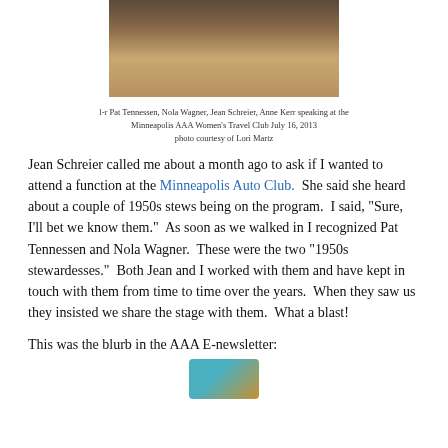[Figure (photo): Photo of women seated on barstools, legs visible, wearing various footwear and clothing]
l-r Pat Tennessen, Nola Wagner, Jean Schreier, Anne Kerr speaking at the Minneapolis AAA Women's Travel Club July 16, 2013
photo courtesy of Lori Martz
Jean Schreier called me about a month ago to ask if I wanted to attend a function at the Minneapolis Auto Club.  She said she heard about a couple of 1950s stews being on the program.  I said, "Sure, I'll bet we know them."  As soon as we walked in I recognized Pat Tennessen and Nola Wagner.  These were the two "1950s stewardesses."  Both Jean and I worked with them and have kept in touch with them from time to time over the years.  When they saw us they insisted we share the stage with them.  What a blast!
This was the blurb in the AAA E-newsletter:
[Figure (photo): Partial image at bottom of page, appears to show a hat or circular object]